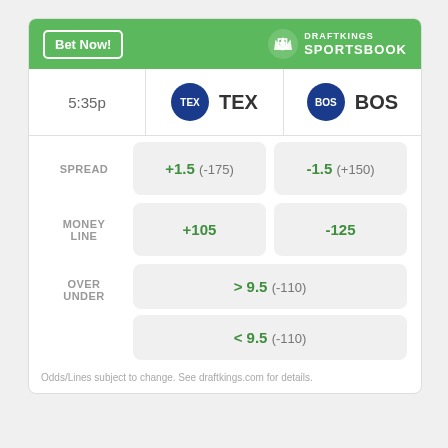[Figure (infographic): DraftKings Sportsbook betting widget showing TEX vs BOS with spread, moneyline, and over/under odds]
Odds/Lines subject to change. See draftkings.com for details.